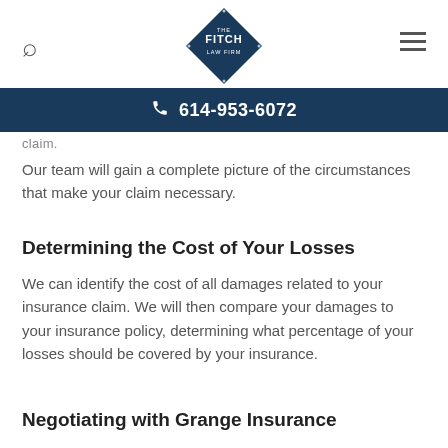THE FITCH LAW FIRM | 614-953-6072
claim.
Our team will gain a complete picture of the circumstances that make your claim necessary.
Determining the Cost of Your Losses
We can identify the cost of all damages related to your insurance claim. We will then compare your damages to your insurance policy, determining what percentage of your losses should be covered by your insurance.
Negotiating with Grange Insurance